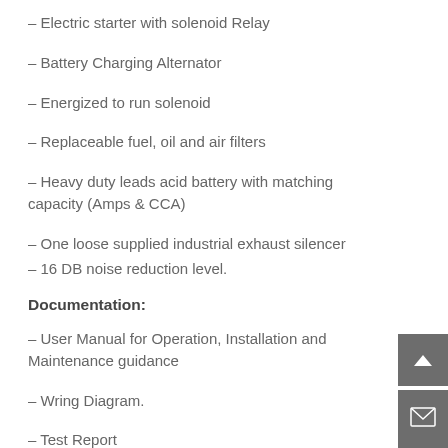– Electric starter with solenoid Relay
– Battery Charging Alternator
– Energized to run solenoid
– Replaceable fuel, oil and air filters
– Heavy duty leads acid battery with matching capacity (Amps & CCA)
– One loose supplied industrial exhaust silencer
– 16 DB noise reduction level.
Documentation:
– User Manual for Operation, Installation and Maintenance guidance
– Wring Diagram.
– Test Report